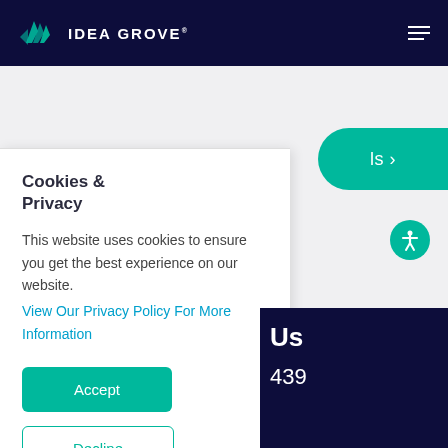IDEA GROVE
[Figure (screenshot): Green pill-shaped button partially visible on right side with text 'ls ›']
[Figure (illustration): Teal circular accessibility icon with person figure on right side]
Cookies & Privacy
This website uses cookies to ensure you get the best experience on our website.
View Our Privacy Policy For More Information
Accept
Decline
Us
439